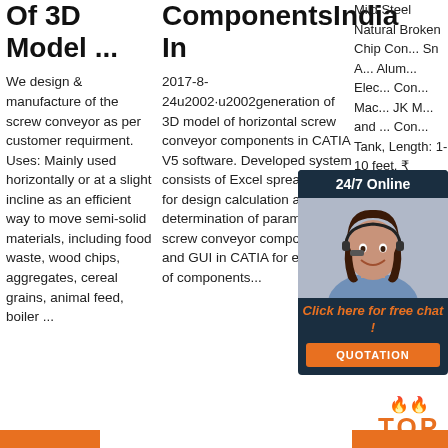Of 3D Model ...
We design & manufacture of the screw conveyor as per customer requirment. Uses: Mainly used horizontally or at a slight incline as an efficient way to move semi-solid materials, including food waste, wood chips, aggregates, cereal grains, animal feed, boiler ...
ComponentsIndia In
2017-8-24u2002·u2002generation of 3D model of horizontal screw conveyor components in CATIA V5 software. Developed system consists of Excel spreadsheet for design calculation and determination of parameters of screw conveyor components and GUI in CATIA for entering of components...
Mild Steel Natural Broken Chip Con... Sn A... Alum... Elec... Con... Mac... JK M... and ... Con... Tank, Length: 1-10 feet. ₹ 65,000. VIP Conveyors Private Limited.
[Figure (photo): Chat widget showing woman with headset smiling, with '24/7 Online' header, 'Click here for free chat!' call to action in orange, and orange QUOTATION button]
[Figure (logo): TOP badge in orange text with flame icons]